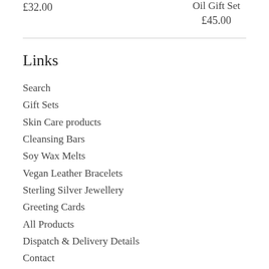£32.00
Oil Gift Set
£45.00
Links
Search
Gift Sets
Skin Care products
Cleansing Bars
Soy Wax Melts
Vegan Leather Bracelets
Sterling Silver Jewellery
Greeting Cards
All Products
Dispatch & Delivery Details
Contact